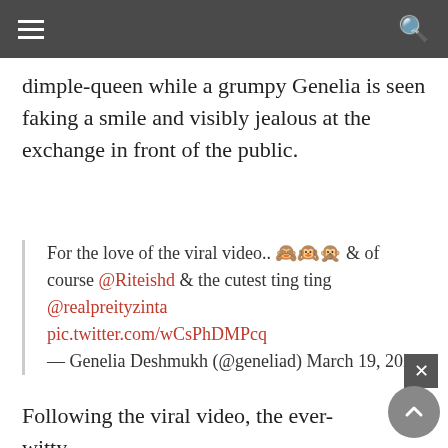☰  🔍
dimple-queen while a grumpy Genelia is seen faking a smile and visibly jealous at the exchange in front of the public.
For the love of the viral video.. 🙈🙉🙊 & of course @Riteishd & the cutest ting ting @realpreityzinta pic.twitter.com/wCsPhDMPcq
— Genelia Deshmukh (@geneliad) March 19, 2021
Following the viral video, the ever-witty